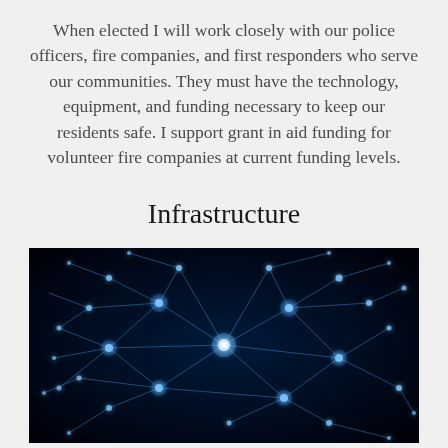When elected I will work closely with our police officers, fire companies, and first responders who serve our communities. They must have the technology, equipment, and funding necessary to keep our residents safe. I support grant in aid funding for volunteer fire companies at current funding levels.
Infrastructure
[Figure (photo): Dark background network graph image showing glowing blue nodes connected by light blue lines, resembling a neural network or infrastructure connectivity diagram.]